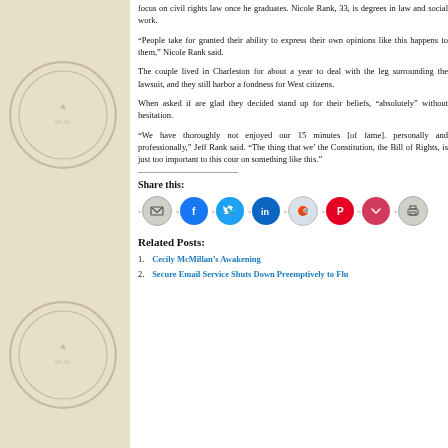focus on civil rights law once he graduates. Nicole Rank, 33, is degrees in law and social work.
“People take for granted their ability to express their own opinions like this happens to them,” Nicole Rank said.
The couple lived in Charleston for about a year to deal with the leg surrounding the lawsuit, and they still harbor a fondness for West citizens.
When asked if are glad they decided stand up for their beliefs, “absolutely” without hesitation.
“We have thoroughly not enjoyed our 15 minutes [of fame]. personally and professionally,” Jeff Rank said. “The thing that we’ the Constitution, the Bill of Rights, is just too important to this cour on something like this.”
Share this:
[Figure (infographic): Row of social sharing icon buttons: email, Facebook, Twitter, LinkedIn, Reddit, Pinterest, Pocket, Print]
Related Posts:
1. Cecily McMillan’s Awakening
2. Secure Email Service Shuts Down Preemptively to Flu